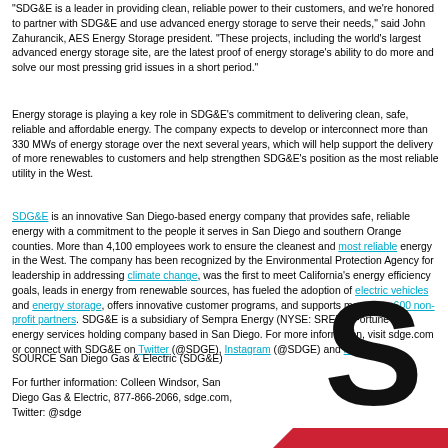"SDG&E is a leader in providing clean, reliable power to their customers, and we're honored to partner with SDG&E and use advanced energy storage to serve their needs," said John Zahurancik, AES Energy Storage president. "These projects, including the world's largest advanced energy storage site, are the latest proof of energy storage's ability to do more and solve our most pressing grid issues in a short period."
Energy storage is playing a key role in SDG&E's commitment to delivering clean, safe, reliable and affordable energy. The company expects to develop or interconnect more than 330 MWs of energy storage over the next several years, which will help support the delivery of more renewables to customers and help strengthen SDG&E's position as the most reliable utility in the West.
SDG&E is an innovative San Diego-based energy company that provides safe, reliable energy with a commitment to the people it serves in San Diego and southern Orange counties. More than 4,100 employees work to ensure the cleanest and most reliable energy in the West. The company has been recognized by the Environmental Protection Agency for leadership in addressing climate change, was the first to meet California's energy efficiency goals, leads in energy from renewable sources, has fueled the adoption of electric vehicles and energy storage, offers innovative customer programs, and supports more than 600 non-profit partners. SDG&E is a subsidiary of Sempra Energy (NYSE: SRE), a Fortune 500 energy services holding company based in San Diego. For more information, visit sdge.com or connect with SDG&E on Twitter (@SDGE), Instagram (@SDGE) and Facebook.
SOURCE San Diego Gas & Electric (SDG&E)
For further information: Colleen Windsor, San Diego Gas & Electric, 877-866-2066, sdge.com, Twitter: @sdge
[Figure (logo): SDG&E logo — large black letter S with red diagonal bar]